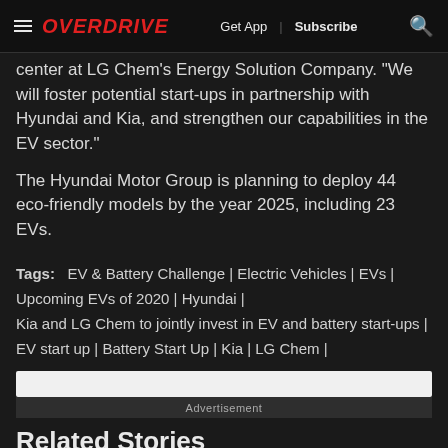OVERDRIVE | Get App | Subscribe
center at LG Chem's Energy Solution Company. "We will foster potential start-ups in partnership with Hyundai and Kia, and strengthen our capabilities in the EV sector."
The Hyundai Motor Group is planning to deploy 44 eco-friendly models by the year 2025, including 23 EVs.
Tags: EV & Battery Challenge | Electric Vehicles | EVs | Upcoming EVs of 2020 | Hyundai | Kia and LG Chem to jointly invest in EV and battery start-ups | EV start up | Battery Start Up | Kia | LG Chem |
Advertisement
Related Stories